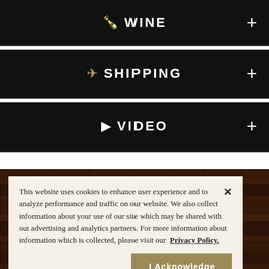WINE
SHIPPING
VIDEO
[Figure (photo): Dark wood plank background image]
This website uses cookies to enhance user experience and to analyze performance and traffic on our website. We also collect information about your use of our site which may be shared with out advertising and analytics partners. For more information about information which is collected, please visit our Privacy Policy.
I Acknowledge
CERTIFIED SECURE